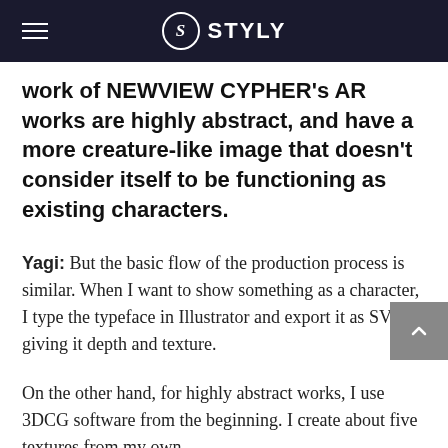STYLY
work of NEWVIEW CYPHER's AR works are highly abstract, and have a more creature-like image that doesn't consider itself to be functioning as existing characters.
Yagi: But the basic flow of the production process is similar. When I want to show something as a character, I type the typeface in Illustrator and export it as SVG, giving it depth and texture.
On the other hand, for highly abstract works, I use 3DCG software from the beginning. I create about five textures from my own